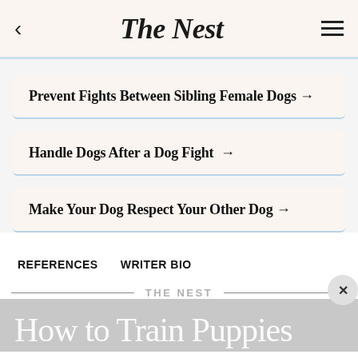The Nest
Prevent Fights Between Sibling Female Dogs →
Handle Dogs After a Dog Fight →
Make Your Dog Respect Your Other Dog →
REFERENCES    WRITER BIO
THE NEST
How to Train Puppies